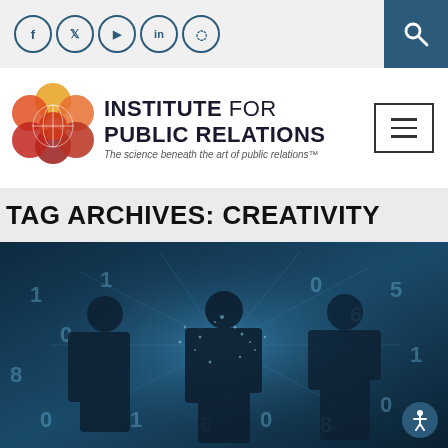Social media icons: Facebook, Twitter, YouTube, LinkedIn, Instagram; Search button
[Figure (logo): Institute for Public Relations logo with flower/globe icon. Text: INSTITUTE FOR PUBLIC RELATIONS. Tagline: The science beneath the art of public relations™]
TAG ARCHIVES: CREATIVITY
[Figure (photo): Dark blue-tinted hero image showing silhouettes of people against a digital data/network visualization background with glowing particles, binary numbers and connected lines]